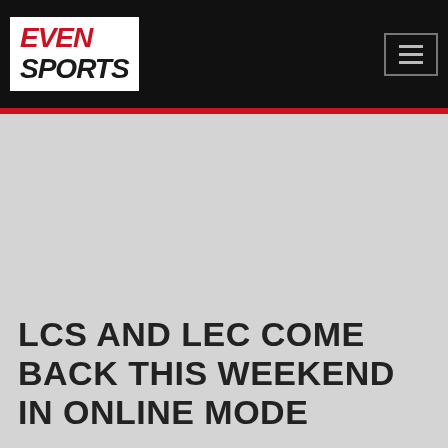[Figure (logo): EvenSports logo — white background with red italic 'EVЕН' text and dark italic 'SPORTS' text]
LCS AND LEC COME BACK THIS WEEKEND IN ONLINE MODE